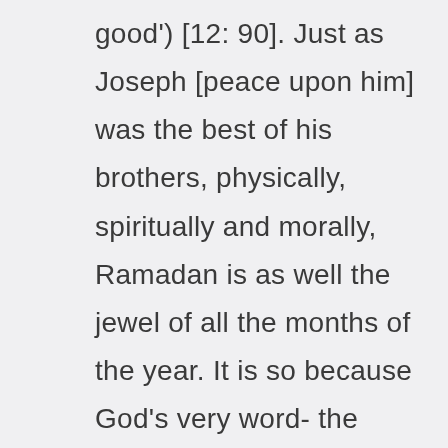good') [12: 90]. Just as Joseph [peace upon him] was the best of his brothers, physically, spiritually and morally, Ramadan is as well the jewel of all the months of the year. It is so because God's very word- the Holy Quran- was revealed in it. It is also the crown of the rest of the months of the year not the least for the occurrence of the